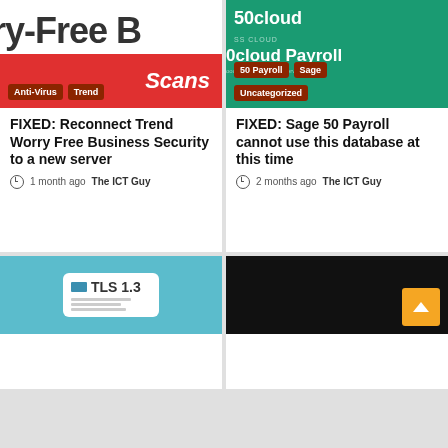[Figure (screenshot): Red banner showing 'Scans' text with Anti-Virus and Trend category tags, partial 'Worry-Free B' text visible at top]
FIXED: Reconnect Trend Worry Free Business Security to a new server
1 month ago  The ICT Guy
[Figure (screenshot): Green background with 50cloud branding, Sage 50 Payroll text, with category tags: 50 Payroll, Sage, Uncategorized]
FIXED: Sage 50 Payroll cannot use this database at this time
2 months ago  The ICT Guy
[Figure (screenshot): Teal/light blue background with a tablet device showing TLS 1.3 text]
[Figure (screenshot): Black background with orange scroll-to-top button with up arrow]